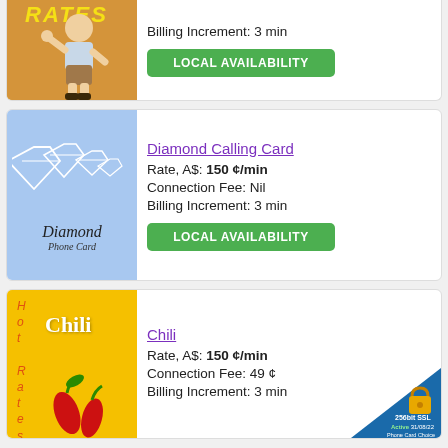[Figure (illustration): Partial view of a cartoon man giving thumbs up on a golden background, with 'RATES' text visible at top]
Billing Increment: 3 min
LOCAL AVAILABILITY
[Figure (illustration): Diamond Phone Card logo on light blue background with diamond icons and italic 'Diamond Phone Card' text]
Diamond Calling Card
Rate, A$: 150 ¢/min
Connection Fee: Nil
Billing Increment: 3 min
LOCAL AVAILABILITY
[Figure (illustration): Chili calling card on yellow background with 'Hot Rates' text and chili pepper illustration]
Chili
Rate, A$: 150 ¢/min
Connection Fee: 49 ¢
Billing Increment: 3 min
[Figure (illustration): 256bit SSL Active 31/08/22 Phone Card Choice badge in bottom right corner]